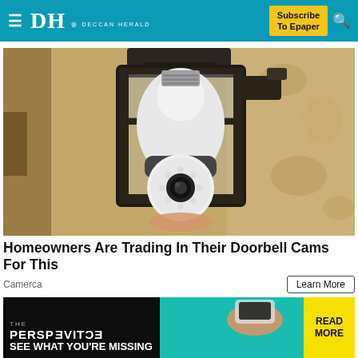Deccan Herald — Subscribe To Epaper
[Figure (photo): A security camera shaped like a light bulb installed inside a black metal outdoor wall lantern fixture against a textured beige/tan stucco wall. The camera has a white bulb body with a round camera lens/sensor assembly at the bottom with LED lights around it.]
Homeowners Are Trading In Their Doorbell Cams For This
Camerca
Learn More
[Figure (advertisement): Advertisement banner with dark background, teal section, and yellow 'READ MORE' button. Shows 'THE PERSPECTIVE — SEE WHAT YOU'RE MISSING' with a hand holding a phone image.]